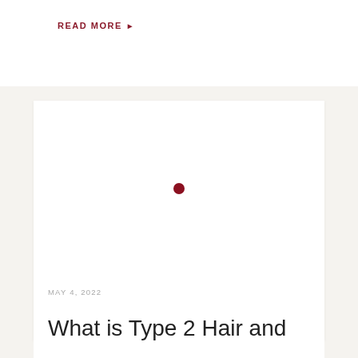READ MORE ▶
[Figure (photo): White image placeholder area with a small dark red circular dot in the center, representing a loading or placeholder image for an article.]
MAY 4, 2022
What is Type 2 Hair and